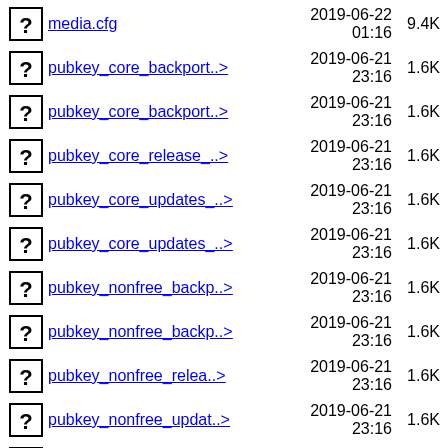media.cfg  2019-06-22 01:16  9.4K
pubkey_core_backport..>  2019-06-21 23:16  1.6K
pubkey_core_backport..>  2019-06-21 23:16  1.6K
pubkey_core_release_..>  2019-06-21 23:16  1.6K
pubkey_core_updates_..>  2019-06-21 23:16  1.6K
pubkey_core_updates_..>  2019-06-21 23:16  1.6K
pubkey_nonfree_backp..>  2019-06-21 23:16  1.6K
pubkey_nonfree_backp..>  2019-06-21 23:16  1.6K
pubkey_nonfree_relea..>  2019-06-21 23:16  1.6K
pubkey_nonfree_updat..>  2019-06-21 23:16  1.6K
pubkey_nonfree_updat..>  2019-06-21 23:16  1.6K
pubkey_tainted_backp..>  2019-06-21  1.6K